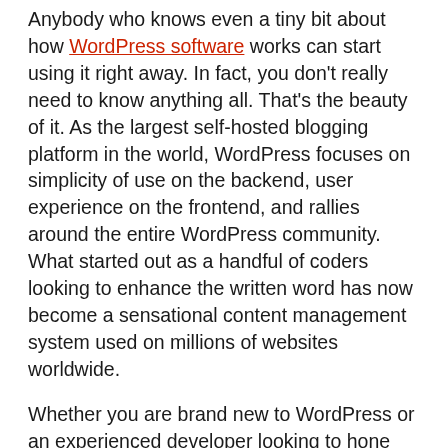Anybody who knows even a tiny bit about how WordPress software works can start using it right away. In fact, you don't really need to know anything all. That's the beauty of it. As the largest self-hosted blogging platform in the world, WordPress focuses on simplicity of use on the backend, user experience on the frontend, and rallies around the entire WordPress community. What started out as a handful of coders looking to enhance the written word has now become a sensational content management system used on millions of websites worldwide.
Whether you are brand new to WordPress or an experienced developer looking to hone your skills, it is always nice to know where to find some extra help. Fortunately, there are plenty of WordPress resources that can get your website up and running in no time, teach you the latest techniques in the coding world,